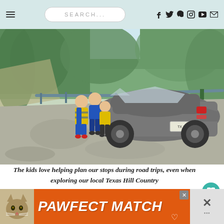SEARCH...
[Figure (photo): Family with children standing next to a gray sedan car on a gravel road with guardrail and trees in background, Texas Hill Country road trip scene]
The kids love helping plan our stops during road trips, even when exploring our local Texas Hill Country
[Figure (other): PAWFECT MATCH advertisement banner with cat image on orange background]